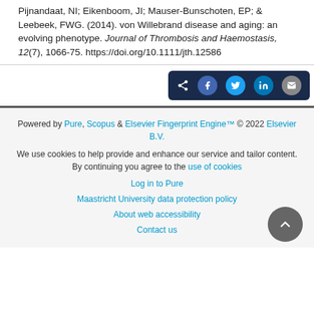Pijnandaat, NI; Eikenboom, JI; Mauser-Bunschoten, EP; & Leebeek, FWG. (2014). von Willebrand disease and aging: an evolving phenotype. Journal of Thrombosis and Haemostasis, 12(7), 1066-75. https://doi.org/10.1111/jth.12586
[Figure (other): Share buttons bar with icons for Facebook, Twitter, LinkedIn, and Email on a dark navy background]
Powered by Pure, Scopus & Elsevier Fingerprint Engine™ © 2022 Elsevier B.V.
We use cookies to help provide and enhance our service and tailor content. By continuing you agree to the use of cookies
Log in to Pure
Maastricht University data protection policy
About web accessibility
Contact us